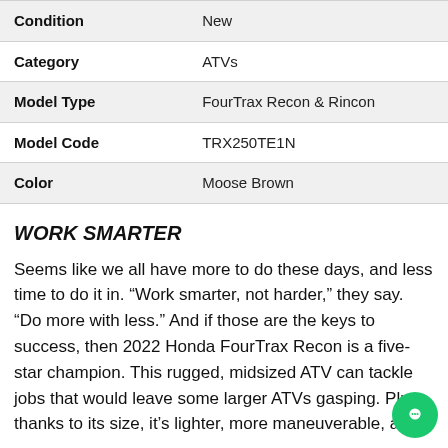| Condition | New |
| --- | --- |
| Condition | New |
| Category | ATVs |
| Model Type | FourTrax Recon & Rincon |
| Model Code | TRX250TE1N |
| Color | Moose Brown |
WORK SMARTER
Seems like we all have more to do these days, and less time to do it in. “Work smarter, not harder,” they say. “Do more with less.” And if those are the keys to success, then 2022 Honda FourTrax Recon is a five-star champion. This rugged, midsized ATV can tackle jobs that would leave some larger ATVs gasping. Plus, thanks to its size, it’s lighter, more maneuverable, and